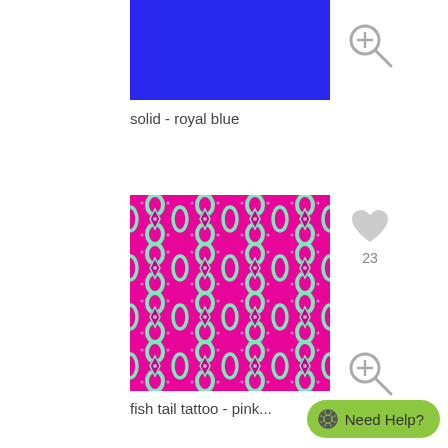[Figure (photo): Solid royal blue color swatch image]
[Figure (illustration): Zoom/magnify plus icon button in gray]
solid - royal blue
[Figure (photo): Fish tail tattoo pink and mint green repeating pattern fabric/design]
[Figure (illustration): Gray heart icon with count 23]
[Figure (illustration): Zoom/magnify plus icon button in gray]
fish tail tattoo - pink...
[Figure (illustration): Need Help? button with flower icon in green]